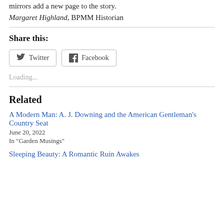mirrors add a new page to the story.
Margaret Highland, BPMM Historian
Share this:
[Figure (other): Twitter and Facebook share buttons]
Loading...
Related
A Modern Man: A. J. Downing and the American Gentleman's Country Seat
June 20, 2022
In "Garden Musings"
Sleeping Beauty: A Romantic Ruin Awakes